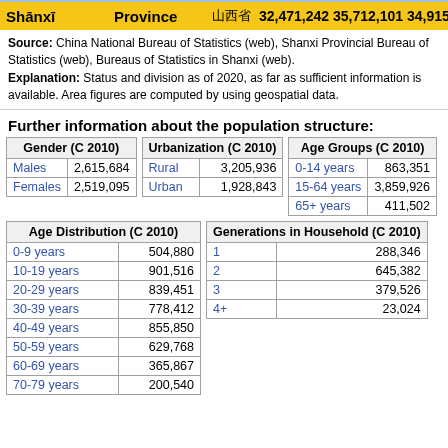| Shānxī | Province | 山西省 | 32,471,242 | 35,712,101 | 34,915,616 |
| --- | --- | --- | --- | --- | --- |
| Shānxī | Province | 山西省 | 32,471,242 | 35,712,101 | 34,915,616 |
Source: China National Bureau of Statistics (web), Shanxi Provincial Bureau of Statistics (web), Bureaus of Statistics in Shanxi (web). Explanation: Status and division as of 2020, as far as sufficient information is available. Area figures are computed by using geospatial data.
Further information about the population structure:
| Gender (C 2010) |  |
| --- | --- |
| Males | 2,615,684 |
| Females | 2,519,095 |
| Urbanization (C 2010) |  |
| --- | --- |
| Rural | 3,205,936 |
| Urban | 1,928,843 |
| Age Groups (C 2010) |  |
| --- | --- |
| 0-14 years | 863,351 |
| 15-64 years | 3,859,926 |
| 65+ years | 411,502 |
| Age Distribution (C 2010) |  |
| --- | --- |
| 0-9 years | 504,880 |
| 10-19 years | 901,516 |
| 20-29 years | 839,451 |
| 30-39 years | 778,412 |
| 40-49 years | 855,850 |
| 50-59 years | 629,768 |
| 60-69 years | 365,867 |
| 70-79 years | 200,540 |
| Generations in Household (C 2010) |  |
| --- | --- |
| 1 | 288,346 |
| 2 | 645,382 |
| 3 | 379,526 |
| 4+ | 23,024 |